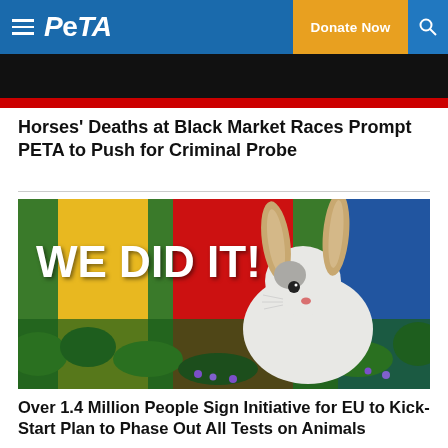PETA — Donate Now
[Figure (photo): Partial image of horses at black market races — black background with red stripe]
Horses' Deaths at Black Market Races Prompt PETA to Push for Criminal Probe
[Figure (photo): White rabbit sitting among green plants and purple flowers with colorful red and yellow background panels. Large white bold text overlay reads 'WE DID IT!']
Over 1.4 Million People Sign Initiative for EU to Kick-Start Plan to Phase Out All Tests on Animals